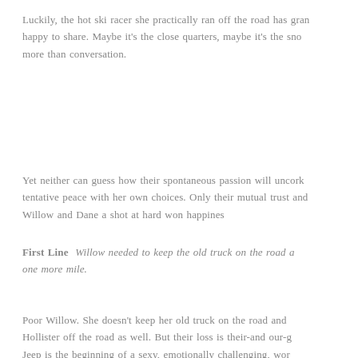Luckily, the hot ski racer she practically ran off the road has gran happy to share. Maybe it's the close quarters, maybe it's the sno more than conversation.
Yet neither can guess how their spontaneous passion will uncork tentative peace with her own choices. Only their mutual trust and Willow and Dane a shot at hard won happines
First Line  Willow needed to keep the old truck on the road a one more mile.
Poor Willow. She doesn't keep her old truck on the road and Hollister off the road as well. But their loss is their-and our-g Jeep is the beginning of a sexy, emotionally challenging, wor